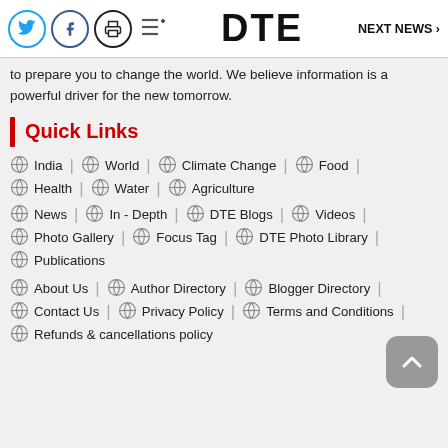DTE | NEXT NEWS >
to prepare you to change the world. We believe information is a powerful driver for the new tomorrow.
Quick Links
India | World | Climate Change | Food
Health | Water | Agriculture
News | In-Depth | DTE Blogs | Videos
Photo Gallery | Focus Tag | DTE Photo Library
Publications
About Us | Author Directory | Blogger Directory
Contact Us | Privacy Policy | Terms and Conditions
Refunds & cancellations policy